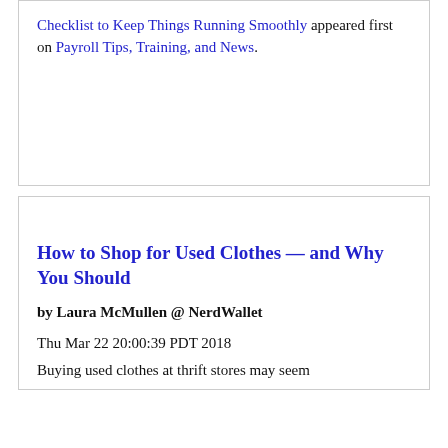Checklist to Keep Things Running Smoothly appeared first on Payroll Tips, Training, and News.
How to Shop for Used Clothes — and Why You Should
by Laura McMullen @ NerdWallet
Thu Mar 22 20:00:39 PDT 2018
Buying used clothes at thrift stores may seem